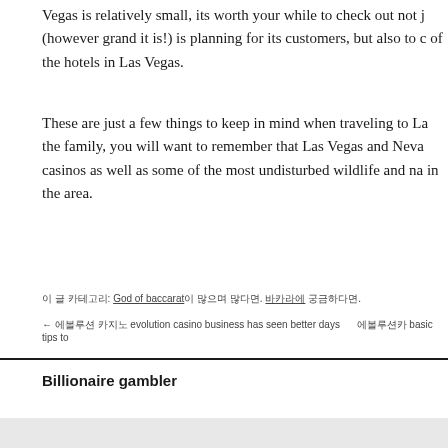Vegas is relatively small, its worth your while to check out not j (however grand it is!) is planning for its customers, but also to c of the hotels in Las Vegas.
These are just a few things to keep in mind when traveling to La the family, you will want to remember that Las Vegas and Neva casinos as well as some of the most undisturbed wildlife and na in the area.
이 글 카테고리: God of baccarat이 많으며 많다면. 바카라에 궁금하다면.
← 에볼루션 카지노 evolution casino business has seen better days   에볼루션카 basic tips to
Billionaire gambler